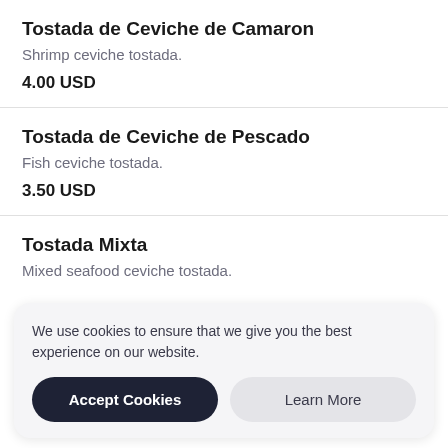Tostada de Ceviche de Camaron
Shrimp ceviche tostada.
4.00 USD
Tostada de Ceviche de Pescado
Fish ceviche tostada.
3.50 USD
Tostada Mixta
Mixed seafood ceviche tostada.
We use cookies to ensure that we give you the best experience on our website.
Accept Cookies
Learn More